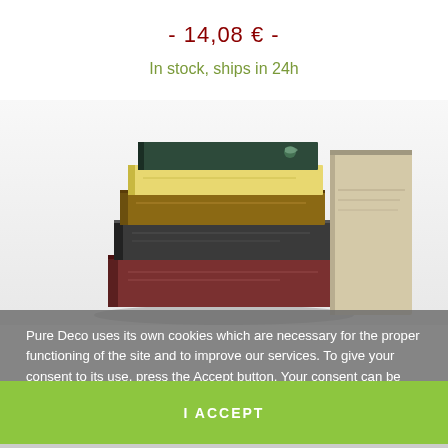- 14,08 € -
In stock, ships in 24h
[Figure (photo): Stack of books on a shelf, photographed from the side showing spines and covers, light gray/white background]
Pure Deco uses its own cookies which are necessary for the proper functioning of the site and to improve our services. To give your consent to its use, press the Accept button. Your consent can be withdrawn at any time.
More information    Personnalisation
I ACCEPT
- 12,42 € -